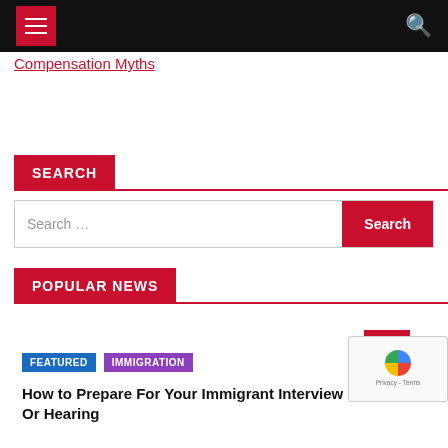[Navigation bar with hamburger menu and search icon]
Compensation Myths
SEARCH
Search …
POPULAR NEWS
FEATURED  IMMIGRATION  How to Prepare For Your Immigrant Interview Or Hearing